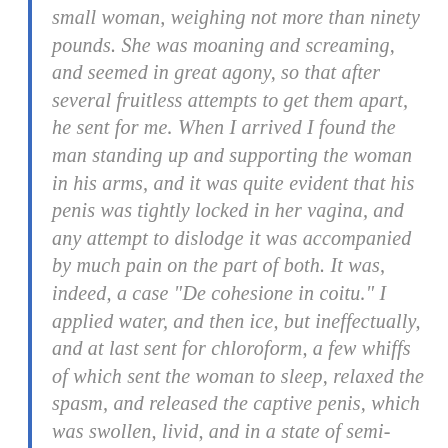small woman, weighing not more than ninety pounds. She was moaning and screaming, and seemed in great agony, so that after several fruitless attempts to get them apart, he sent for me. When I arrived I found the man standing up and supporting the woman in his arms, and it was quite evident that his penis was tightly locked in her vagina, and any attempt to dislodge it was accompanied by much pain on the part of both. It was, indeed, a case "De cohesione in coitu." I applied water, and then ice, but ineffectually, and at last sent for chloroform, a few whiffs of which sent the woman to sleep, relaxed the spasm, and released the captive penis, which was swollen, livid, and in a state of semi-erection, which did not go down for